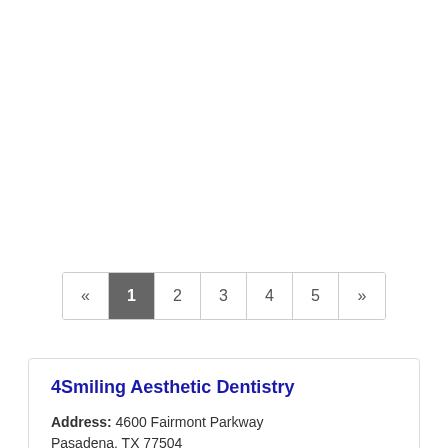« 1 2 3 4 5 »
4Smiling Aesthetic Dentistry
Address: 4600 Fairmont Parkway Pasadena, TX 77504
Phone: (281) 991-1361
» More Info